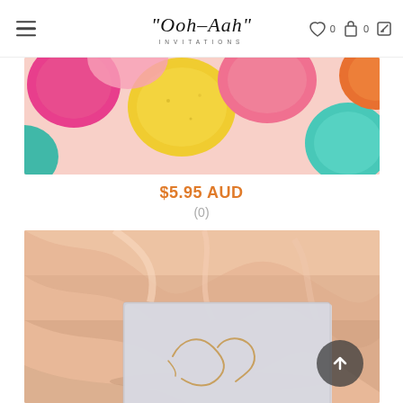"Ooh-Aah" Invitations — navigation bar with hamburger menu, logo, and icons (heart 0, bag 0, edit)
[Figure (photo): Colorful macarons top-down view: pink, yellow, pink, teal, orange macarons on a white surface]
$5.95 AUD
(0)
[Figure (photo): A light grey textured invitation card with gold foil script lettering, resting on peach/salmon draped fabric]